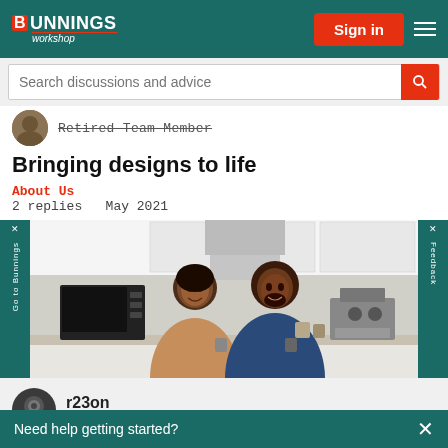[Figure (screenshot): Bunnings Workshop website header with logo, Sign in button, and hamburger menu on teal background]
[Figure (screenshot): Search bar with placeholder text 'Search discussions and advice' and red search icon button]
Retired Team Member
Bringing designs to life
About Us
2 replies   May 2021
[Figure (photo): A smiling couple posing together in a modern kitchen with white cabinets, a microwave, and an espresso machine. The woman is wearing a tan sweater and the man is in a navy blue shirt.]
r23on
Valued Contributor
Life changes
Need help getting started?